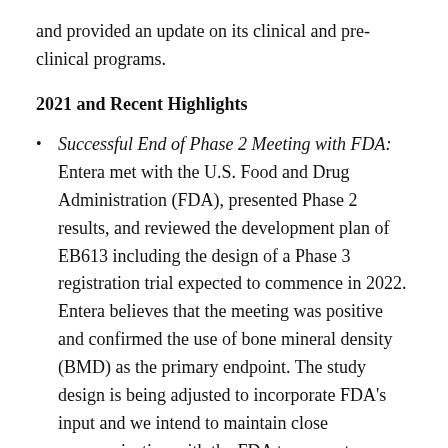and provided an update on its clinical and pre-clinical programs.
2021 and Recent Highlights
Successful End of Phase 2 Meeting with FDA: Entera met with the U.S. Food and Drug Administration (FDA), presented Phase 2 results, and reviewed the development plan of EB613 including the design of a Phase 3 registration trial expected to commence in 2022. Entera believes that the meeting was positive and confirmed the use of bone mineral density (BMD) as the primary endpoint. The study design is being adjusted to incorporate FDA's input and we intend to maintain close communication with the FDA to support our EB613 Osteoporosis program.
Osteoporosis Phase 2 study meets endpoints: Entera effectively executed the clinical development of